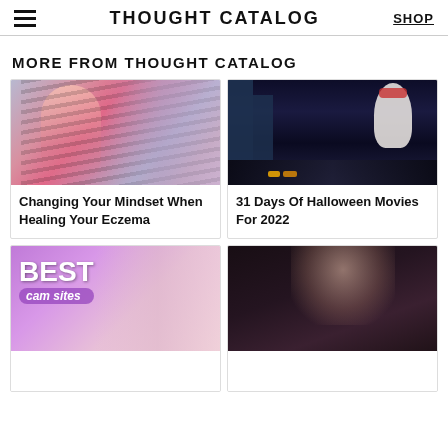THOUGHT CATALOG | SHOP
MORE FROM THOUGHT CATALOG
[Figure (photo): Woman in colorful abstract artistic photo]
Changing Your Mindset When Healing Your Eczema
[Figure (photo): Ghostbusters Stay Puft Marshmallow Man in city street at night]
31 Days Of Halloween Movies For 2022
[Figure (photo): BEST cam sites advertisement with woman in background]
[Figure (photo): Woman in dark lighting, close-up portrait]